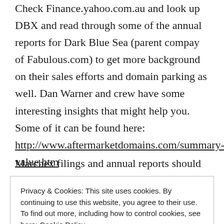Check Finance.yahoo.com.au and look up DBX and read through some of the annual reports for Dark Blue Sea (parent compay of Fabulous.com) to get more background on their sales efforts and domain parking as well. Dan Warner and crew have some interesting insights that might help you. Some of it can be found here: http://www.aftermarketdomains.com/summary-value.htm
Marchex filings and annual reports should round
Privacy & Cookies: This site uses cookies. By continuing to use this website, you agree to their use.
To find out more, including how to control cookies, see here: Cookie Policy